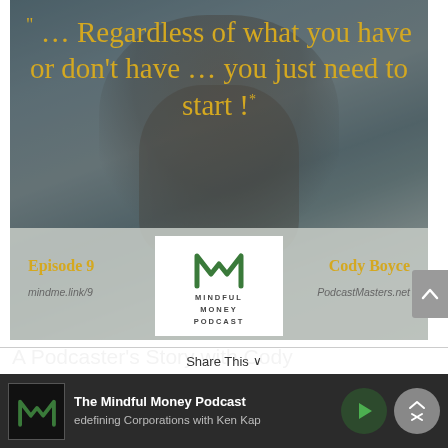[Figure (photo): Podcast episode image for Mindful Money Podcast Episode 9 with Cody Boyce. Background shows a person outdoors near water. Yellow quote text reads: '... Regardless of what you have or don't have … you just need to start!' Bottom bar shows Episode 9, Cody Boyce, mindme.link/9, PodcastMasters.net, and the Mindful Money Podcast logo.]
A Podcaster's Story with Cody
[Figure (screenshot): Mobile audio player bar at bottom of screen showing The Mindful Money Podcast logo, title 'The Mindful Money Podcast', subtitle 'Redefining Corporations with Ken Kap', play button (green), and expand/close button (gray). Share This bar visible above player.]